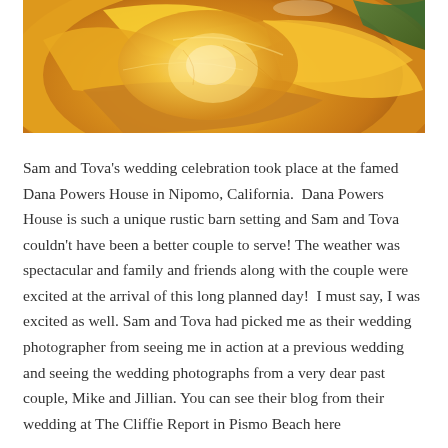[Figure (photo): Close-up macro photograph of a yellow/golden rose bloom, showing soft petals in warm amber and golden tones with green foliage visible in the upper right corner.]
Sam and Tova's wedding celebration took place at the famed Dana Powers House in Nipomo, California.  Dana Powers House is such a unique rustic barn setting and Sam and Tova couldn't have been a better couple to serve! The weather was spectacular and family and friends along with the couple were excited at the arrival of this long planned day!  I must say, I was excited as well. Sam and Tova had picked me as their wedding photographer from seeing me in action at a previous wedding and seeing the wedding photographs from a very dear past couple, Mike and Jillian. You can see their blog from their wedding at The Cliffie Report in Pismo Beach here